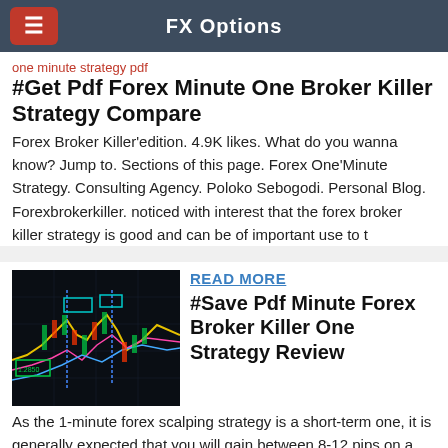FX Options
one minute strategy pdf
#Get Pdf Forex Minute One Broker Killer Strategy Compare
Forex Broker Killer'edition. 4.9K likes. What do you wanna know? Jump to. Sections of this page. Forex One'Minute Strategy. Consulting Agency. Poloko Sebogodi. Personal Blog. Forexbrokerkiller. noticed with interest that the forex broker killer strategy is good and can be of important use to t
[Figure (screenshot): Forex trading chart screenshot with colorful candlestick and line overlays on a dark background]
READ MORE
#Save Pdf Minute Forex Broker Killer One Strategy Review
As the 1-minute forex scalping strategy is a short-term one, it is generally expected that you will gain between 8-12 pips on a trade. Hence the take-profits are best to remain within 8-12 pips from the entry price. Forex 1-Minute Scalping Strategy Sell (Short) Entry